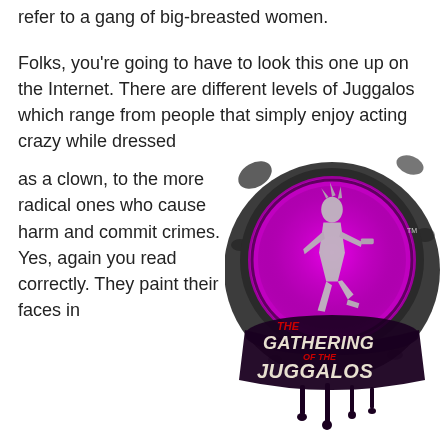refer to a gang of big-breasted women.
Folks, you're going to have to look this one up on the Internet. There are different levels of Juggalos which range from people that simply enjoy acting crazy while dressed as a clown, to the more radical ones who cause harm and commit crimes. Yes, again you read correctly. They paint their faces in the manner of a circus clown like the Joker in a Batman movie. Their logo or image is a clown
[Figure (logo): The Gathering of the Juggalos logo: a purple glowing circular badge with a running hatchet-man figure in silver/grey, surrounded by dark splatter effects, with the text 'THE GATHERING OF THE JUGGALOS' in stylized lettering and dripping paint effects below.]